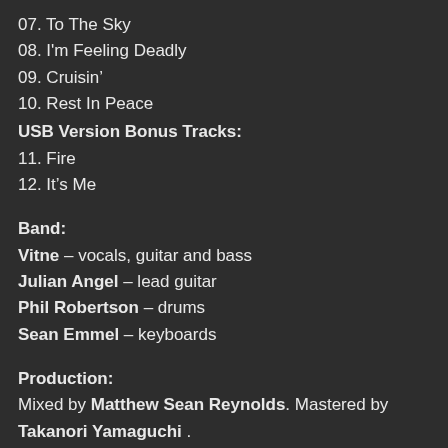07. To The Sky
08. I'm Feeling Deadly
09. Cruisin'
10. Rest In Peace
USB Version Bonus Tracks:
11. Fire
12. It's Me
Band:
Vitne – vocals, guitar and bass
Julian Angel – lead guitar
Phil Robertson – drums
Sean Emmel – keyboards
Production:
Mixed by Matthew Sean Reynolds. Mastered by Takanori Yamaguchi .